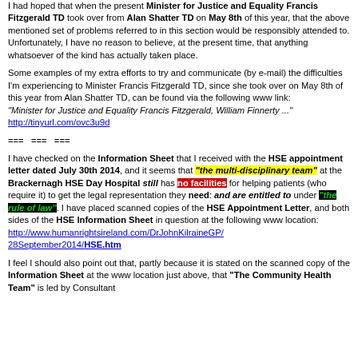I had hoped that when the present Minister for Justice and Equality Francis Fitzgerald TD took over from Alan Shatter TD on May 8th of this year, that the above mentioned set of problems referred to in this section would be responsibly attended to. Unfortunately, I have no reason to believe, at the present time, that anything whatsoever of the kind has actually taken place.
Some examples of my extra efforts to try and communicate (by e-mail) the difficulties I'm experiencing to Minister Francis Fitzgerald TD, since she took over on May 8th of this year from Alan Shatter TD, can be found via the following www link: "Minister for Justice and Equality Francis Fitzgerald, William Finnerty ..." http://tinyurl.com/ovc3u9d
=== === ===
I have checked on the Information Sheet that I received with the HSE appointment letter dated July 30th 2014, and it seems that "the multi-disciplinary team" at the Brackernagh HSE Day Hospital still has no facilities for helping patients (who require it) to get the legal representation they need: and are entitled to under "the rule of law". I have placed scanned copies of the HSE Appointment Letter, and both sides of the HSE Information Sheet in question at the following www location: http://www.humanrightsireland.com/DrJohnKilraineGP/28September2014/HSE.htm
I feel I should also point out that, partly because it is stated on the scanned copy of the Information Sheet at the www location just above, that "The Community Health Team" is led by Consultant